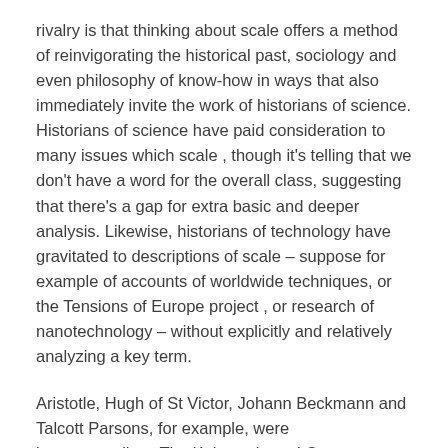rivalry is that thinking about scale offers a method of reinvigorating the historical past, sociology and even philosophy of know-how in ways that also immediately invite the work of historians of science. Historians of science have paid consideration to many issues which scale , though it's telling that we don't have a word for the overall class, suggesting that there's a gap for extra basic and deeper analysis. Likewise, historians of technology have gravitated to descriptions of scale – suppose for example of accounts of worldwide techniques, or the Tensions of Europe project , or research of nanotechnology – without explicitly and relatively analyzing a key term.
Aristotle, Hugh of St Victor, Johann Beckmann and Talcott Parsons, for example, were instrumentalists. The Kultur-oriented German engineers of the nineteenth century, Lewis Mumford, and the Nineteen Sixties critics of know-how took the cultural view of know-how. Schatzberg has offered an exquisite service by tracing the conceptual history of know-